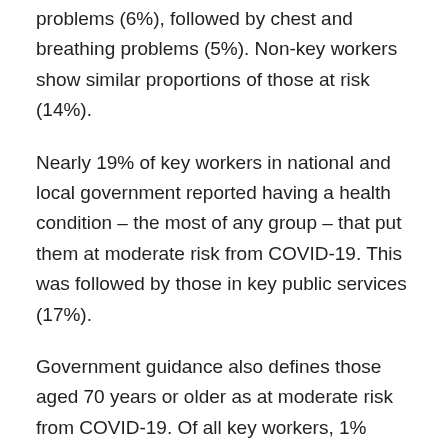problems (6%), followed by chest and breathing problems (5%). Non-key workers show similar proportions of those at risk (14%).
Nearly 19% of key workers in national and local government reported having a health condition – the most of any group – that put them at moderate risk from COVID-19. This was followed by those in key public services (17%).
Government guidance also defines those aged 70 years or older as at moderate risk from COVID-19. Of all key workers, 1% (130,000) were aged 70 years and over. This compares with 2% of non-key workers.